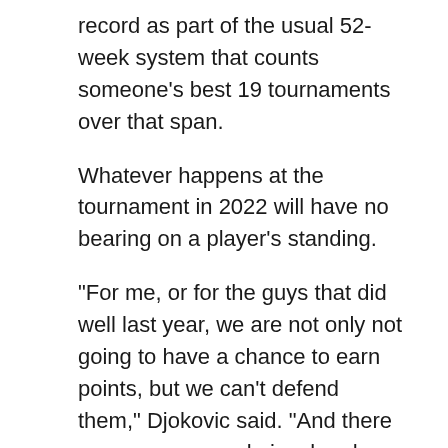record as part of the usual 52-week system that counts someone's best 19 tournaments over that span.
Whatever happens at the tournament in 2022 will have no bearing on a player's standing.
"For me, or for the guys that did well last year, we are not only not going to have a chance to earn points, but we can't defend them," Djokovic said. "And there are some guys, obviously, who are not going to have a chance to earn points, of course. It's a very unique and weird situation, I must say."
Earlier in the day, four-time Grand Slam champion Naomi Osaka said she was leaning toward skipping Wimbledon with no points on